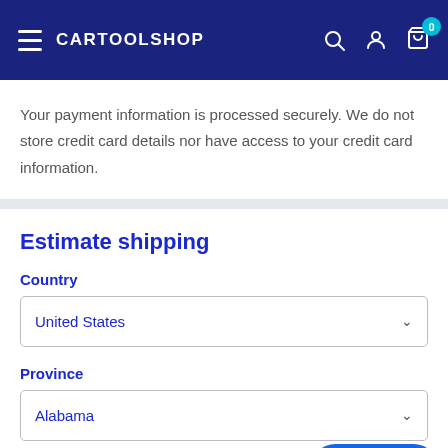CARTOOLSHOP
Your payment information is processed securely. We do not store credit card details nor have access to your credit card information.
Estimate shipping
Country
United States
Province
Alabama
Chat with us